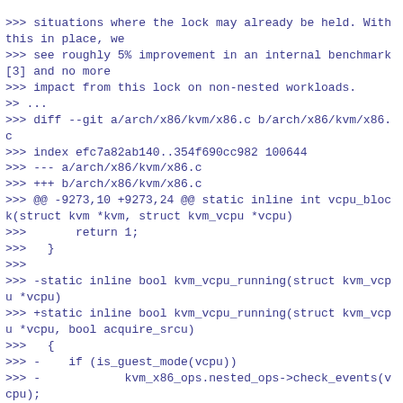>>> situations where the lock may already be held. With this in place, we
>>> see roughly 5% improvement in an internal benchmark [3] and no more
>>> impact from this lock on non-nested workloads.
>> ...
>>> diff --git a/arch/x86/kvm/x86.c b/arch/x86/kvm/x86.c
>>> index efc7a82ab140..354f690cc982 100644
>>> --- a/arch/x86/kvm/x86.c
>>> +++ b/arch/x86/kvm/x86.c
>>> @@ -9273,10 +9273,24 @@ static inline int vcpu_block(struct kvm *kvm, struct kvm_vcpu *vcpu)
>>>       return 1;
>>>   }
>>>
>>> -static inline bool kvm_vcpu_running(struct kvm_vcpu *vcpu)
>>> +static inline bool kvm_vcpu_running(struct kvm_vcpu *vcpu, bool acquire_srcu)
>>>   {
>>> -    if (is_guest_mode(vcpu))
>>> -            kvm_x86_ops.nested_ops->check_events(vcpu);
>>> +    if (is_guest_mode(vcpu)) {
>>> +            if (acquire_srcu) {
>>> +                    /*
>>> +                     * We need to lock because check_events could call
>>> +                     * nested_vmx_vmexit() which